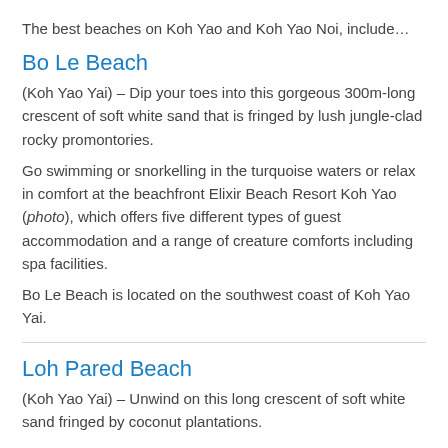The best beaches on Koh Yao and Koh Yao Noi, include…
Bo Le Beach
(Koh Yao Yai) – Dip your toes into this gorgeous 300m-long crescent of soft white sand that is fringed by lush jungle-clad rocky promontories.
Go swimming or snorkelling in the turquoise waters or relax in comfort at the beachfront Elixir Beach Resort Koh Yao (photo), which offers five different types of guest accommodation and a range of creature comforts including spa facilities.
Bo Le Beach is located on the southwest coast of Koh Yao Yai.
Loh Pared Beach
(Koh Yao Yai) – Unwind on this long crescent of soft white sand fringed by coconut plantations.
You can expect good swimming and the opportunity to watch the local Hua Tong boat fishermen.
Relax on the beach or hire a kayak and explore a string of beaches further along the coast.